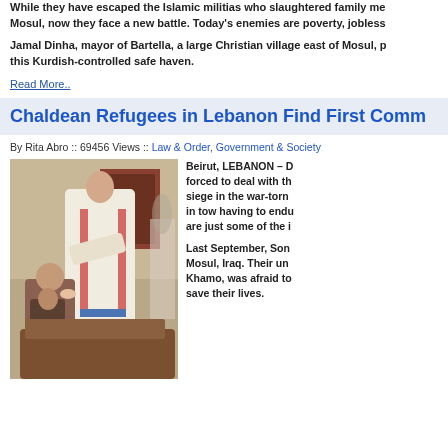While they have escaped the Islamic militias who slaughtered family me... Mosul, now they face a new battle. Today's enemies are poverty, jobless...
Jamal Dinha, mayor of Bartella, a large Christian village east of Mosul, p... this Kurdish-controlled safe haven.
Read More..
Chaldean Refugees in Lebanon Find First Comm...
By Rita Abro :: 69456 Views :: Law & Order, Government & Society
[Figure (photo): A priest in white vestments administering communion to children in a church setting during a religious ceremony.]
Beirut, LEBANON – D... forced to deal with th... siege in the war-torn... in tow having to endu... are just some of the i...
Last September, Son... Mosul, Iraq. Their un... Khamo, was afraid to... save their lives.